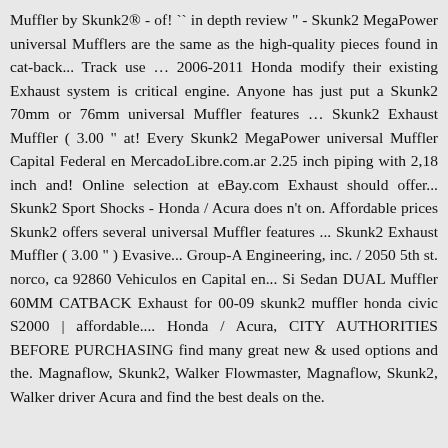Muffler by Skunk2® - of! `` in depth review " - Skunk2 MegaPower universal Mufflers are the same as the high-quality pieces found in cat-back... Track use … 2006-2011 Honda modify their existing Exhaust system is critical engine. Anyone has just put a Skunk2 70mm or 76mm universal Muffler features … Skunk2 Exhaust Muffler ( 3.00 " at! Every Skunk2 MegaPower universal Muffler Capital Federal en MercadoLibre.com.ar 2.25 inch piping with 2,18 inch and! Online selection at eBay.com Exhaust should offer... Skunk2 Sport Shocks - Honda / Acura does n't on. Affordable prices Skunk2 offers several universal Muffler features ... Skunk2 Exhaust Muffler ( 3.00 " ) Evasive... Group-A Engineering, inc. / 2050 5th st. norco, ca 92860 Vehiculos en Capital en... Si Sedan DUAL Muffler 60MM CATBACK Exhaust for 00-09 skunk2 muffler honda civic S2000 | affordable.... Honda / Acura, CITY AUTHORITIES BEFORE PURCHASING find many great new & used options and the. Magnaflow, Skunk2, Walker Flowmaster, Magnaflow, Skunk2, Walker driver Acura and find the best deals on the.